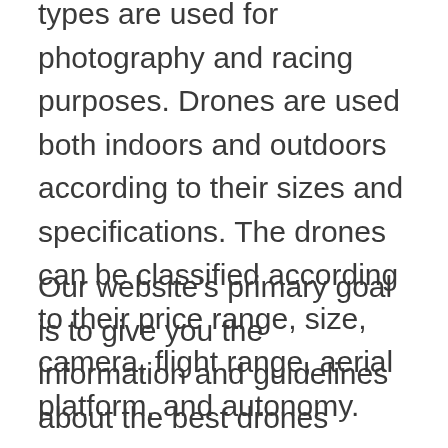types are used for photography and racing purposes. Drones are used both indoors and outdoors according to their sizes and specifications. The drones can be classified according to their price range, size, camera, flight range, aerial platform, and autonomy.
Our website's primary goal is to give you the information and guidelines about the best drones available in the market. We do substantial research and proofread the user review and give you the list and updates about the drones. Every drone on our site is